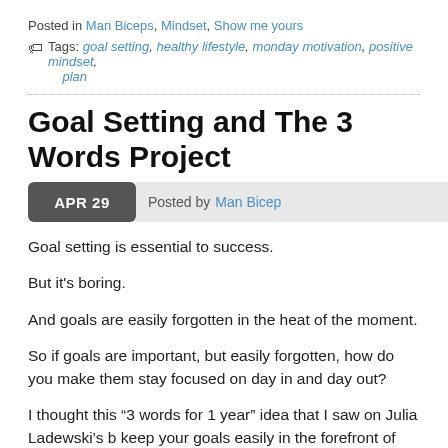Posted in Man Biceps, Mindset, Show me yours
Tags: goal setting, healthy lifestyle, monday motivation, positive mindset, plan
Goal Setting and The 3 Words Project
APR 29   Posted by Man Bicep
Goal setting is essential to success.
But it's boring.
And goals are easily forgotten in the heat of the moment.
So if goals are important, but easily forgotten, how do you make them stay focused on day in and day out?
I thought this “3 words for 1 year” idea that I saw on Julia Ladewski’s b keep your goals easily in the forefront of your mind. (Here is her post a